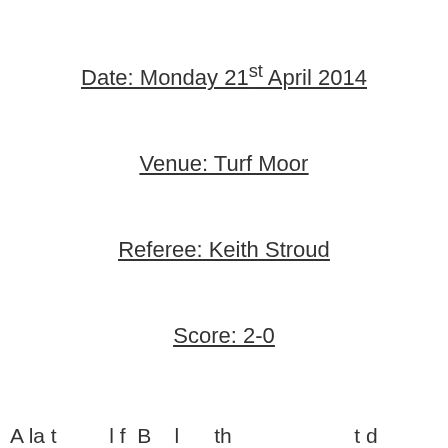Date: Monday 21st April 2014
Venue: Turf Moor
Referee: Keith Stroud
Score: 2-0
A la t         l f  B    l      th                    t d